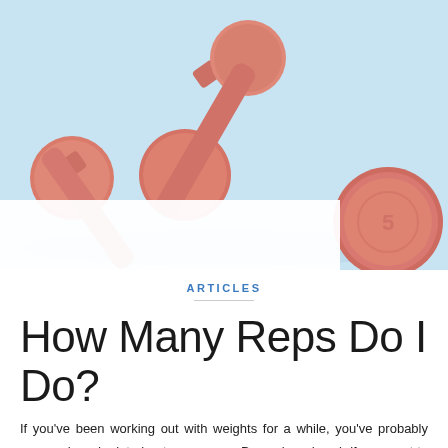[Figure (photo): Two pink/salmon colored dumbbells (5 lb) crossed over each other on a light blue background]
ARTICLES
How Many Reps Do I Do?
If you've been working out with weights for a while, you've probably seen or heard a lot about rep-ranges. Do such and such if you want to tone and firm,